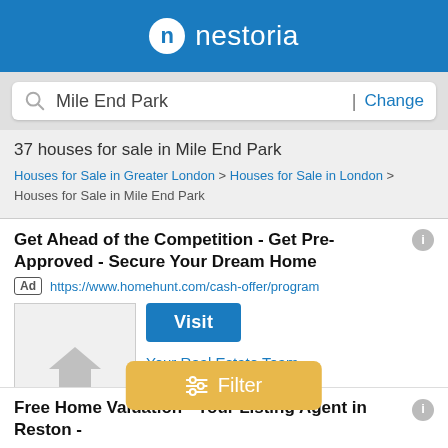nestoria
Mile End Park | Change
37 houses for sale in Mile End Park
Houses for Sale in Greater London > Houses for Sale in London > Houses for Sale in Mile End Park
Get Ahead of the Competition - Get Pre-Approved - Secure Your Dream Home
Ad https://www.homehunt.com/cash-offer/program
Visit
Your Real Estate Team
Real Estate eBooks
Quick Guides
Home Shopper's Checklist
Experience the HomeHunt Difference. Secure Your Dream Home with Our New Cash Offer Program. Introducing our Cash Offer Program. Faster Process....
Filter
Free Home Valuation - Your Listing Agent in Reston -